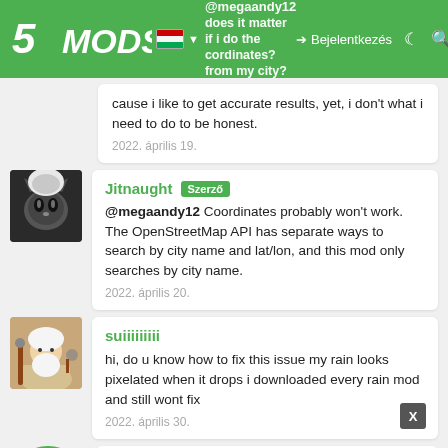5MODS — @megaandy12 — does it matter if i do the cordinates? from my city? — Bejelentkezés
cause i like to get accurate results, yet, i don't what i need to do to be honest.
2022. április 19.
Jitnaught Szerző
@megaandy12 Coordinates probably won't work. The OpenStreetMap API has separate ways to search by city name and lat/lon, and this mod only searches by city name.
2022. április 20.
suiiiiiiiii
hi, do u know how to fix this issue my rain looks pixelated when it drops i downloaded every rain mod and still wont fix
2022. április 30.
elalibanzz